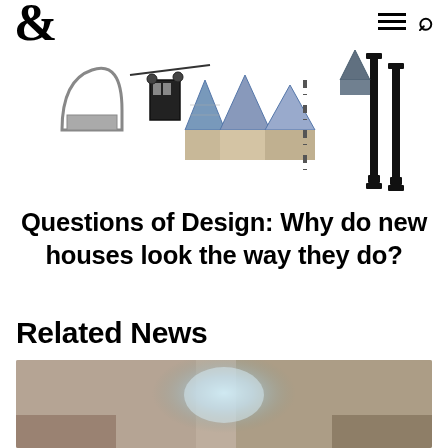& [logo] — navigation with hamburger menu and search icon
[Figure (photo): Scattered architectural elements including rooftops, a cable car or gondola, slate rooflines, dashed road markings, and street lamp posts on white background]
Questions of Design: Why do new houses look the way they do?
Related News
[Figure (photo): Blurred/out-of-focus interior or architectural photograph with warm tan and cool blue tones]